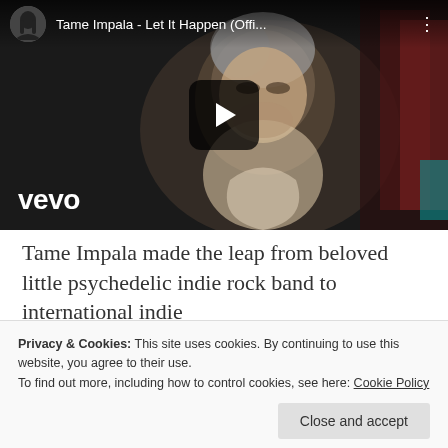[Figure (screenshot): YouTube video thumbnail for 'Tame Impala - Let It Happen (Offi...' showing a man's face in dim lighting, with Vevo logo at bottom left, a circular avatar icon and title bar at top, and a play button in the center]
Tame Impala made the leap from beloved little psychedelic indie rock band to international indie
Privacy & Cookies: This site uses cookies. By continuing to use this website, you agree to their use.
To find out more, including how to control cookies, see here: Cookie Policy
Close and accept
of Currents here.